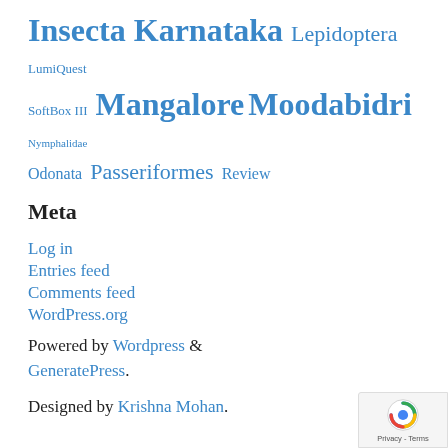Insecta Karnataka Lepidoptera LumiQuest SoftBox III Mangalore Moodabidri Nymphalidae Odonata Passeriformes Review
Meta
Log in
Entries feed
Comments feed
WordPress.org
Powered by Wordpress & GeneratePress.
Designed by Krishna Mohan.
[Figure (logo): reCAPTCHA badge with Privacy - Terms text]